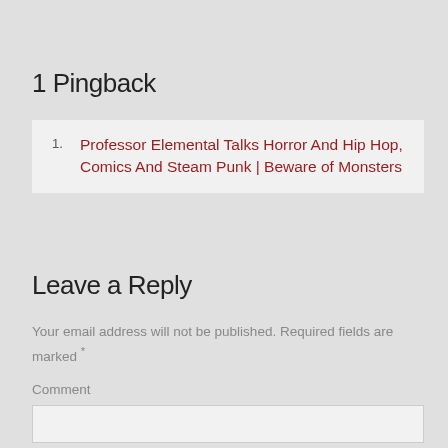1 Pingback
Professor Elemental Talks Horror And Hip Hop, Comics And Steam Punk | Beware of Monsters
Leave a Reply
Your email address will not be published. Required fields are marked *
Comment